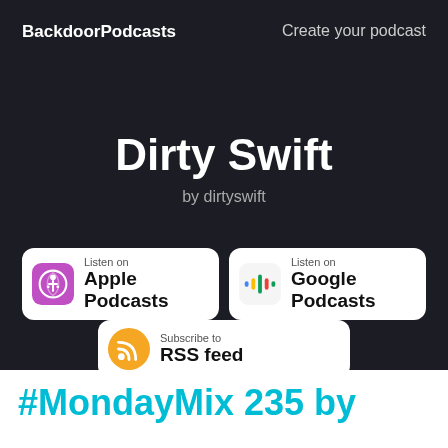BackdoorPodcasts    Create your podcast
Dirty Swift
by dirtyswift
[Figure (logo): Listen on Apple Podcasts badge with purple podcast icon]
[Figure (logo): Listen on Google Podcasts badge with colorful microphone icon]
[Figure (logo): Subscribe to RSS feed badge with orange RSS icon]
#MondayMix 235 by